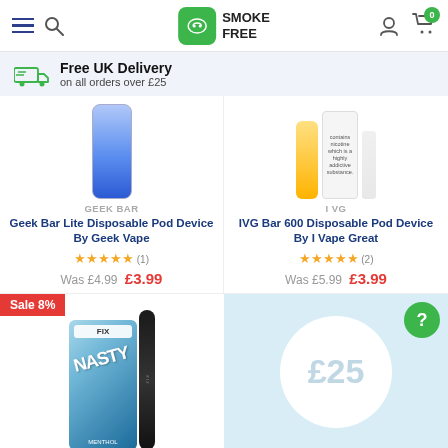[Figure (screenshot): Go Smoke Free website header with hamburger menu, search icon, logo, user icon and cart with badge showing 0]
Free UK Delivery on all orders over £25
GEEK BAR
Geek Bar Lite Disposable Pod Device By Geek Vape
★★★★★ (1)
Was £4.99  £3.99
I VG
IVG Bar 600 Disposable Pod Device By I Vape Great
★★★★★ (2)
Was £5.99  £3.99
[Figure (photo): Nasty Fix vape product photo with Sale 8% badge]
[Figure (infographic): Light blue circle with £25 text and green help button]
Rewards
Filter Results